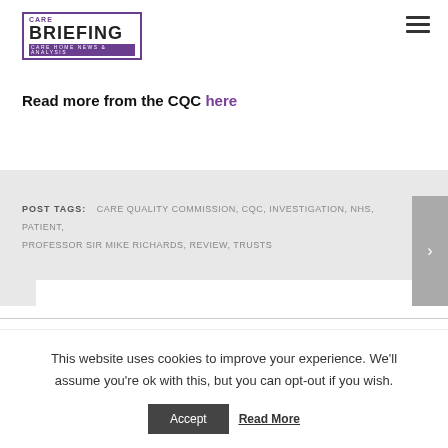[Figure (logo): Care Briefing logo with purple border and subtitle 'Care Home News & Analysis']
Read more from the CQC here
POST TAGS: CARE QUALITY COMMISSION, CQC, INVESTIGATION, NHS, PATIENT, PROFESSOR SIR MIKE RICHARDS, REVIEW, TRUSTS
This website uses cookies to improve your experience. We'll assume you're ok with this, but you can opt-out if you wish.